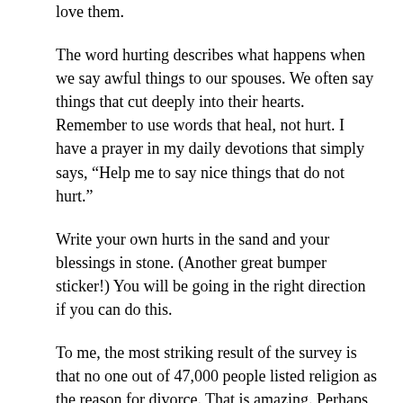love them.
The word hurting describes what happens when we say awful things to our spouses. We often say things that cut deeply into their hearts. Remember to use words that heal, not hurt. I have a prayer in my daily devotions that simply says, “Help me to say nice things that do not hurt.”
Write your own hurts in the sand and your blessings in stone. (Another great bumper sticker!) You will be going in the right direction if you can do this.
To me, the most striking result of the survey is that no one out of 47,000 people listed religion as the reason for divorce. That is amazing. Perhaps it is because people who have religion/Christ in their lives seem to handle differences in people much better. I think a lot of it is how they stay close to God and turn their troubles over to Him.